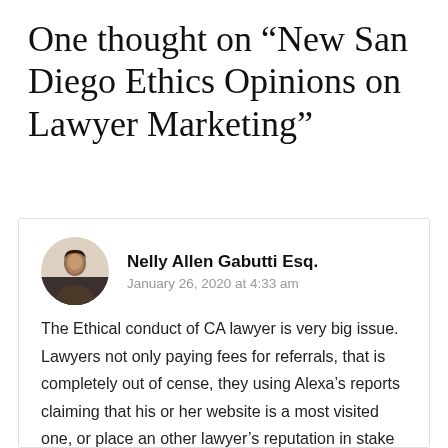One thought on “New San Diego Ethics Opinions on Lawyer Marketing”
[Figure (photo): Circular avatar photo of Nelly Allen Gabutti Esq., a woman standing near a car]
Nelly Allen Gabutti Esq.
January 26, 2020 at 4:33 am
The Ethical conduct of CA lawyer is very big issue. Lawyers not only paying fees for referrals, that is completely out of cense, they using Alexa’s reports claiming that his or her website is a most visited one, or place an other lawyer’s reputation in stake to attract the clients. Just like to